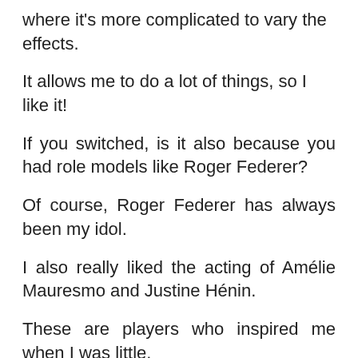where it's more complicated to vary the effects.
It allows me to do a lot of things, so I like it!
If you switched, is it also because you had role models like Roger Federer?
Of course, Roger Federer has always been my idol.
I also really liked the acting of Amélie Mauresmo and Justine Hénin.
These are players who inspired me when I was little.
Not so long ago, you were said to be a "too nice" player.